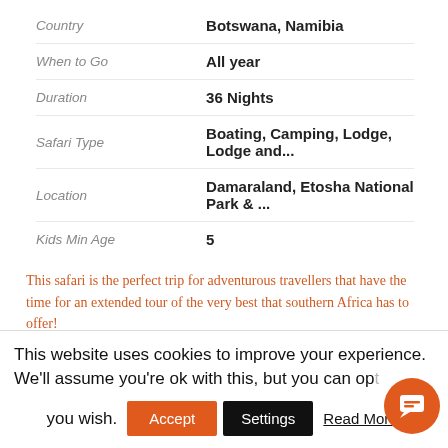|  |  |
| --- | --- |
| Country | Botswana, Namibia |
| When to Go | All year |
| Duration | 36 Nights |
| Safari Type | Boating, Camping, Lodge, Lodge and... |
| Location | Damaraland, Etosha National Park & ... |
| Kids Min Age | 5 |
This safari is the perfect trip for adventurous travellers that have the time for an extended tour of the very best that southern Africa has to offer! It is well suited for travellers that are keen to self-drive and camp in Namibia but
This website uses cookies to improve your experience. We'll assume you're ok with this, but you can op you wish.
Accept | Settings | Read More